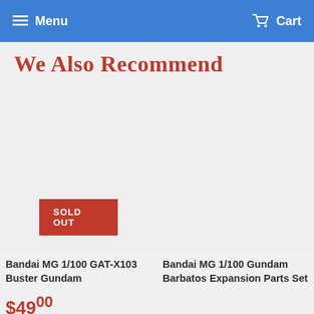Menu   Cart
We Also Recommend
SOLD OUT
Bandai MG 1/100 GAT-X103 Buster Gundam
$49.00
Bandai MG 1/100 Gundam Barbatos Expansion Parts Set